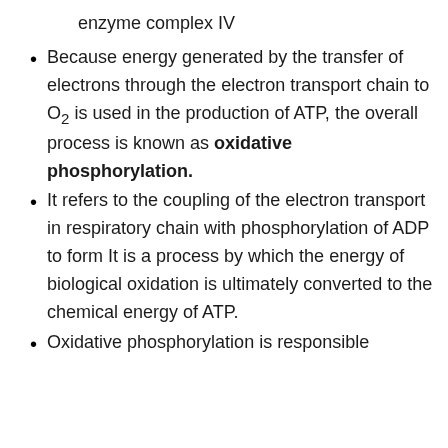enzyme complex IV
Because energy generated by the transfer of electrons through the electron transport chain to O2 is used in the production of ATP, the overall process is known as oxidative phosphorylation.
It refers to the coupling of the electron transport in respiratory chain with phosphorylation of ADP to form It is a process by which the energy of biological oxidation is ultimately converted to the chemical energy of ATP.
Oxidative phosphorylation is responsible